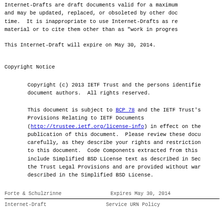Internet-Drafts are draft documents valid for a maximum and may be updated, replaced, or obsoleted by other doc time.  It is inappropriate to use Internet-Drafts as re material or to cite them other than as "work in progres
This Internet-Draft will expire on May 30, 2014.
Copyright Notice
Copyright (c) 2013 IETF Trust and the persons identifie document authors.  All rights reserved.
This document is subject to BCP 78 and the IETF Trust's Provisions Relating to IETF Documents (http://trustee.ietf.org/license-info) in effect on the publication of this document.  Please review these docu carefully, as they describe your rights and restriction to this document.  Code Components extracted from this include Simplified BSD License text as described in Sec the Trust Legal Provisions and are provided without war described in the Simplified BSD License.
Forte & Schulzrinne    Expires May 30, 2014
Internet-Draft    Service URN Policy